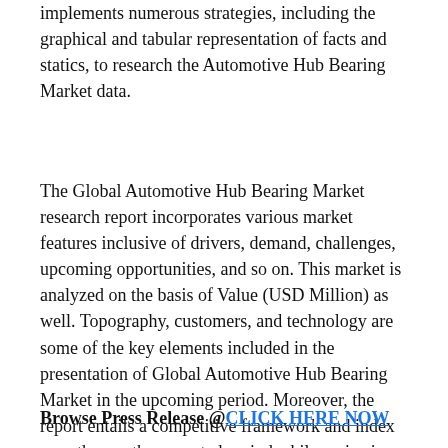implements numerous strategies, including the graphical and tabular representation of facts and statics, to research the Automotive Hub Bearing Market data.
The Global Automotive Hub Bearing Market research report incorporates various market features inclusive of drivers, demand, challenges, upcoming opportunities, and so on. This market is analyzed on the basis of Value (USD Million) as well. Topography, customers, and technology are some of the key elements included in the presentation of Global Automotive Hub Bearing Market in the upcoming period. Moreover, the report entails a competitive framework and index growth over the expected period while reviewing the Global Automotive Hub Bearing Market.
Browse Press Release @ CLICK HERE NOW